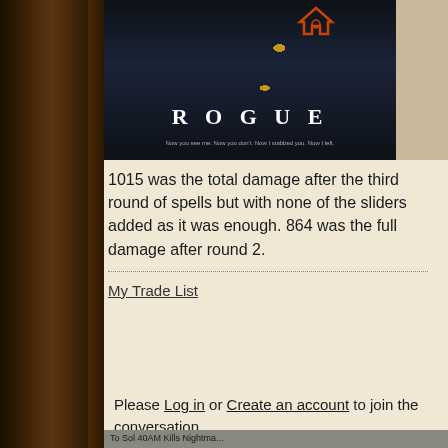[Figure (photo): A dark-themed motivational poster image with text 'ROGUE' and subtitle text, featuring a figure against a dark background with glowing orbs]
1015 was the total damage after the third round of spells but with none of the sliders added as it was enough. 864 was the full damage after round 2.
My Trade List
Please Log in or Create an account to join the conversation.